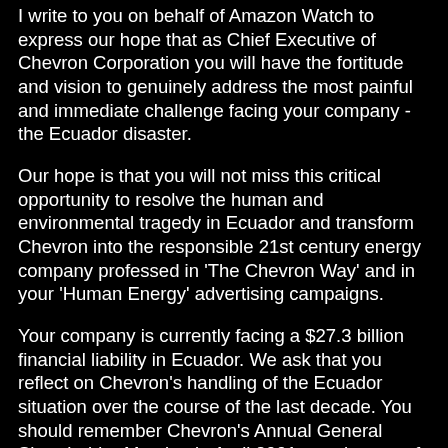I write to you on behalf of Amazon Watch to express our hope that as Chief Executive of Chevron Corporation you will have the fortitude and vision to genuinely address the most painful and immediate challenge facing your company - the Ecuador disaster.
Our hope is that you will not miss this critical opportunity to resolve the human and environmental tragedy in Ecuador and transform Chevron into the responsible 21st century energy company professed in 'The Chevron Way' and in your 'Human Energy' advertising campaigns.
Your company is currently facing a $27.3 billion financial liability in Ecuador. We ask that you reflect on Chevron's handling of the Ecuador situation over the course of the last decade. You should remember Chevron's Annual General Shareholder Meeting in April 2001 - on the eve of the Texaco acquisition - when I delivered to your company a binder, titled "El Dorado," with more than 500 pages of comprehensive evidence documenting Texaco's massive environmental contamination in the Ecuadorian Amazon. At that meeting, I warned Chevron that by acquiring Texaco the